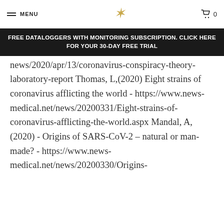MENU | [logo] | 0
FREE DATALOGGERS WITH MONITORING SUBSCRIPTION. CLICK HERE FOR YOUR 30-DAY FREE TRIAL
news/2020/apr/13/coronavirus-conspiracy-theory-laboratory-report Thomas, L,(2020) Eight strains of coronavirus afflicting the world - https://www.news-medical.net/news/20200331/Eight-strains-of-coronavirus-afflicting-the-world.aspx Mandal, A, (2020) - Origins of SARS-CoV-2 – natural or man-made? - https://www.news-medical.net/news/20200330/Origins-